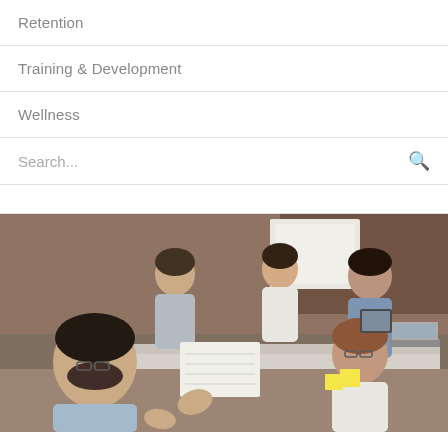Retention
Training & Development
Wellness
Search...
[Figure (photo): Group of diverse business professionals having a meeting around a conference table, with laptops, tablets, notebooks, and coffee cups visible. People are engaged in conversation and collaboration.]